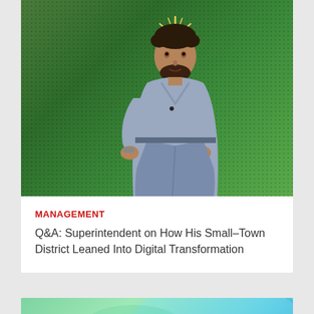[Figure (photo): Man in gray sweater and jeans standing on a stage in front of a green dotted background with golden starburst rays emanating from above his head. He appears to be a speaker at a conference.]
MANAGEMENT
Q&A: Superintendent on How His Small-Town District Leaned Into Digital Transformation
[Figure (photo): Partial view of another article card below with a teal/green gradient background, partially visible.]